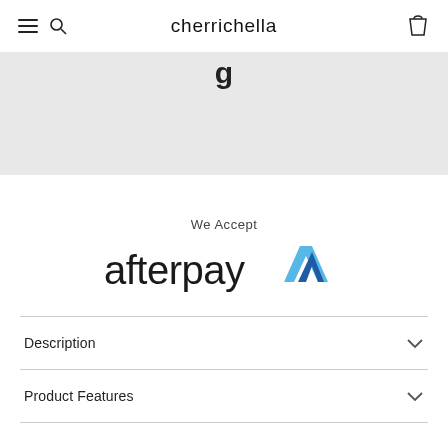cherrichella
[Figure (photo): Product image area - gray background with partial product image at top]
We Accept
[Figure (logo): Afterpay logo - text 'afterpay' with blue arrow triangle logo mark]
Description
Product Features